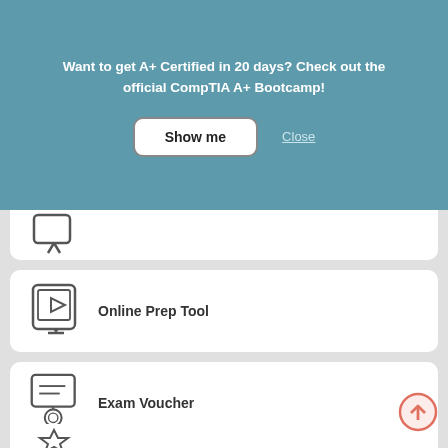Want to get A+ Certified in 20 days? Check out the official CompTIA A+ Bootcamp!
Show me
Close
[Figure (illustration): Book/document icon at top of card (partially visible)]
Online Prep Tool
[Figure (illustration): Tablet/video play icon for Online Prep Tool]
Exam Voucher
[Figure (illustration): Certificate with ribbon/seal icon for Exam Voucher]
[Figure (illustration): Scroll-to-top arrow button circle (salmon/coral color)]
[Figure (illustration): Partial badge/star icon at the bottom of page]